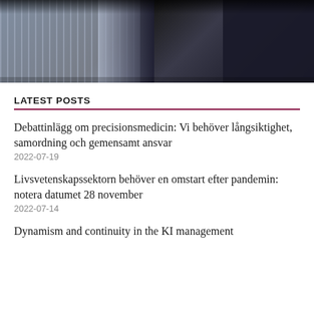[Figure (photo): Dark background photo, likely a person in a striped shirt and dark jacket, mostly obscured]
LATEST POSTS
Debattinlägg om precisionsmedicin: Vi behöver långsiktighet, samordning och gemensamt ansvar
2022-07-19
Livsvetenskapssektorn behöver en omstart efter pandemin: notera datumet 28 november
2022-07-14
Dynamism and continuity in the KI management